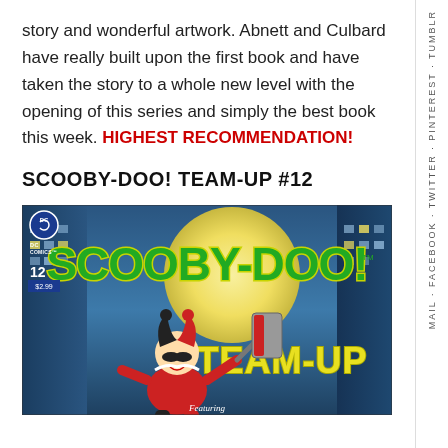story and wonderful artwork. Abnett and Culbard have really built upon the first book and have taken the story to a whole new level with the opening of this series and simply the best book this week. HIGHEST RECOMMENDATION!
SCOOBY-DOO! TEAM-UP #12
[Figure (illustration): Comic book cover for Scooby-Doo! Team-Up #12 published by DC Comics. Features the Scooby-Doo logo in large green bubble letters, Team-Up text in yellow, Harley Quinn character in foreground holding a mallet, city buildings in background at night with large moon. Issue number 12, price $2.99. Text 'Featuring' at bottom.]
MAIL · FACEBOOK · TWITTER · PINTEREST · TUMBLR